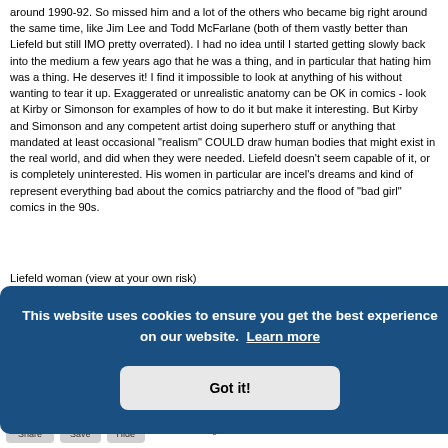around 1990-92. So missed him and a lot of the others who became big right around the same time, like Jim Lee and Todd McFarlane (both of them vastly better than Liefeld but still IMO pretty overrated). I had no idea until I started getting slowly back into the medium a few years ago that he was a thing, and in particular that hating him was a thing. He deserves it! I find it impossible to look at anything of his without wanting to tear it up. Exaggerated or unrealistic anatomy can be OK in comics - look at Kirby or Simonson for examples of how to do it but make it interesting. But Kirby and Simonson and any competent artist doing superhero stuff or anything that mandated at least occasional "realism" COULD draw human bodies that might exist in the real world, and did when they were needed. Liefeld doesn't seem capable of it, or is completely uninterested. His women in particular are incel's dreams and kind of represent everything bad about the comics patriarchy and the flood of "bad girl" comics in the 90s.
Liefeld woman (view at your own risk)
[Figure (screenshot): Cookie consent banner overlay with dark blue background, text 'This website uses cookies to ensure you get the best experience on our website. Learn more' and a 'Got it!' button. A red eye icon button is visible to the right. Below and to the right 'was itself' appears in italic. A circular scroll-up button is at bottom right.]